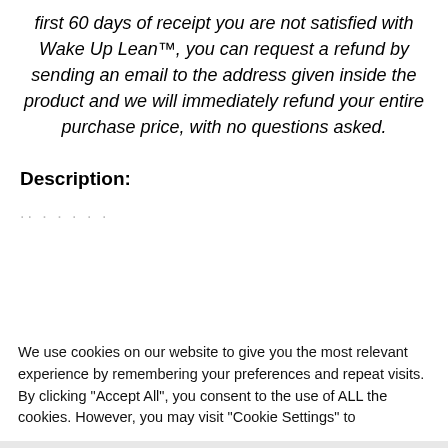first 60 days of receipt you are not satisfied with Wake Up Lean™, you can request a refund by sending an email to the address given inside the product and we will immediately refund your entire purchase price, with no questions asked.
Description:
.. . . . . .
We use cookies on our website to give you the most relevant experience by remembering your preferences and repeat visits. By clicking "Accept All", you consent to the use of ALL the cookies. However, you may visit "Cookie Settings" to
Этот сайт использует cookie для хранения данных. Продолжая использовать сайт, Вы даете свое согласие на работу с этими файлами.